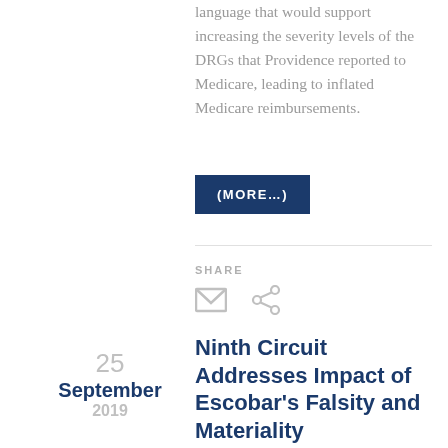language that would support increasing the severity levels of the DRGs that Providence reported to Medicare, leading to inflated Medicare reimbursements.
(MORE…)
SHARE
25 September 2019
Ninth Circuit Addresses Impact of Escobar's Falsity and Materiality